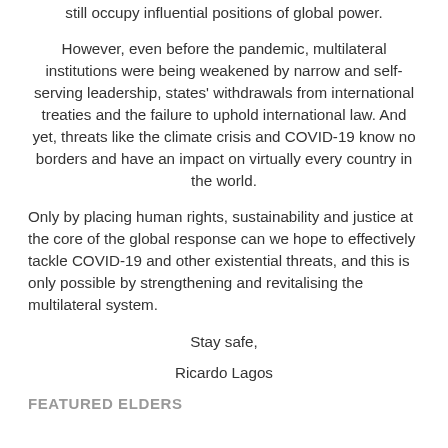still occupy influential positions of global power.
However, even before the pandemic, multilateral institutions were being weakened by narrow and self-serving leadership, states' withdrawals from international treaties and the failure to uphold international law. And yet, threats like the climate crisis and COVID-19 know no borders and have an impact on virtually every country in the world.
Only by placing human rights, sustainability and justice at the core of the global response can we hope to effectively tackle COVID-19 and other existential threats, and this is only possible by strengthening and revitalising the multilateral system.
Stay safe,
Ricardo Lagos
FEATURED ELDERS